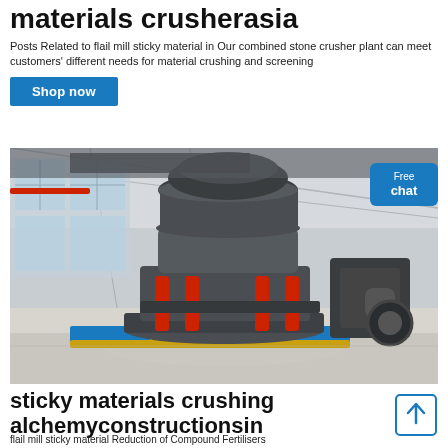materials crusherasia
Posts Related to flail mill sticky material in Our combined stone crusher plant can meet customers' different needs for material crushing and screening
Shop now
[Figure (photo): Large industrial cone crusher machine displayed in a factory/exhibition hall with red hydraulic cylinders, on a colorful base platform, with other heavy machinery in the background]
sticky materials crushing alchemyconstructionsin
flail mill sticky material Reduction of Compound Fertilisers